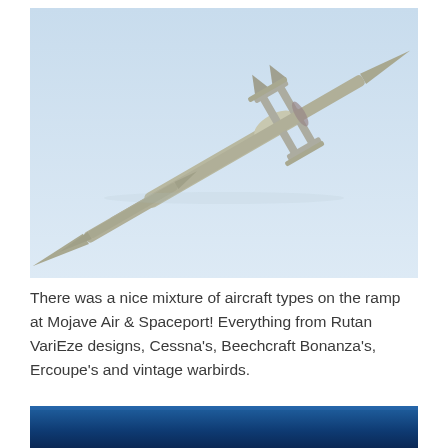[Figure (photo): A long-range aircraft (resembling Voyager or similar multi-boom design) photographed from below against a pale blue sky, flying at an angle with long wings and twin tail booms visible.]
There was a nice mixture of aircraft types on the ramp at Mojave Air & Spaceport! Everything from Rutan VariEze designs, Cessna's, Beechcraft Bonanza's, Ercoupe's and vintage warbirds.
[Figure (photo): Partial view of a photo showing a dark blue sky or surface — only the top portion visible at the bottom of the page.]